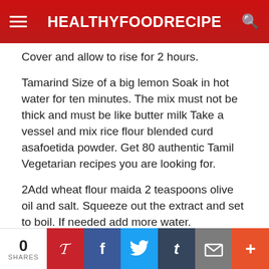HEALTHYFOODRECIPE
Cover and allow to rise for 2 hours.
Tamarind Size of a big lemon Soak in hot water for ten minutes. The mix must not be thick and must be like butter milk Take a vessel and mix rice flour blended curd asafoetida powder. Get 80 authentic Tamil Vegetarian recipes you are looking for.
2Add wheat flour maida 2 teaspoons olive oil and salt. Squeeze out the extract and set to boil. If needed add more water.
Your measurements are so perfect. You have Iyengar recipes which I need desperately. Love you and look
0 SHARES | Pinterest | Facebook | Twitter | Tumblr | Email | +